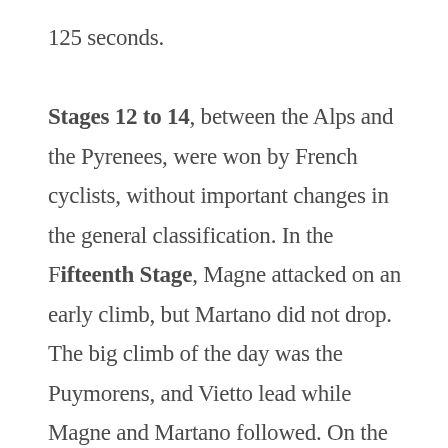125 seconds. Stages 12 to 14, between the Alps and the Pyrenees, were won by French cyclists, without important changes in the general classification. In the Fifteenth Stage, Magne attacked on an early climb, but Martano did not drop. The big climb of the day was the Puymorens, and Vietto lead while Magne and Martano followed. On the way down, Magne crashed on a pothole and broke the wooden rim of his front wheel. Martano saw his